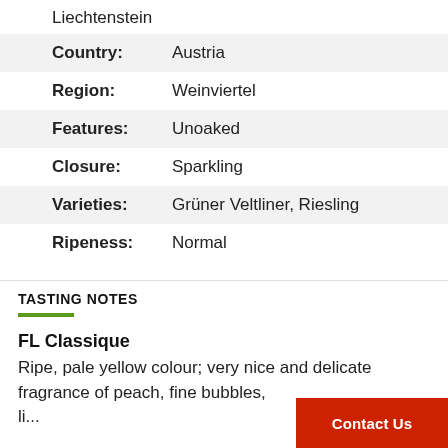Liechtenstein
| Country: | Austria |
| Region: | Weinviertel |
| Features: | Unoaked |
| Closure: | Sparkling |
| Varieties: | Grüner Veltliner, Riesling |
| Ripeness: | Normal |
TASTING NOTES
FL Classique
Ripe, pale yellow colour; very nice and delicate fragrance of peach, fine bubbles,